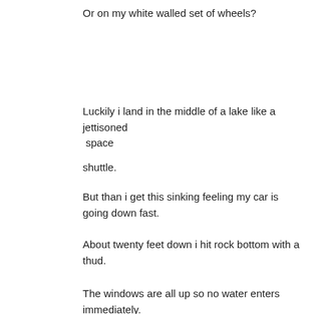Or on my white walled set of wheels?
Luckily i land in the middle of a lake like a jettisoned  space

shuttle.
But than i get this sinking feeling my car is going down fast.
About twenty feet down i hit rock bottom with a thud.
The windows are all up so no water enters immediately.